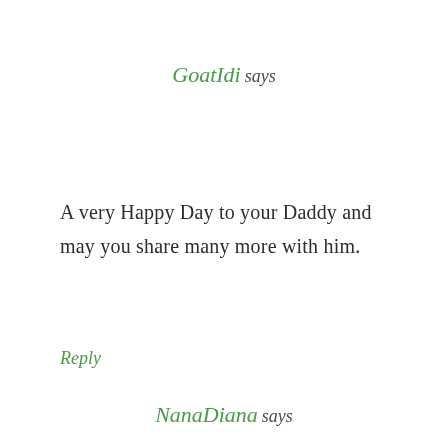GoatIdi says
A very Happy Day to your Daddy and may you share many more with him.
Reply
NanaDiana says